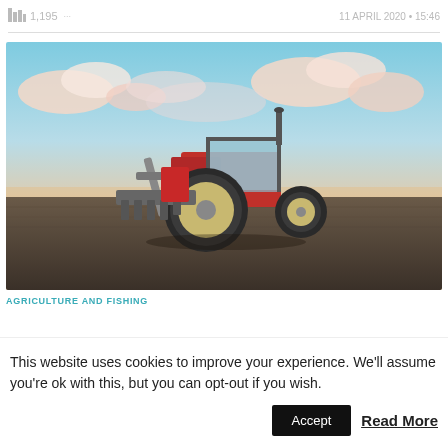1,195  11 APRIL 2020 • 15:46
[Figure (photo): A red tractor ploughing a field at sunset with dramatic pink and blue cloudy sky in the background]
AGRICULTURE AND FISHING
This website uses cookies to improve your experience. We'll assume you're ok with this, but you can opt-out if you wish.
Accept  Read More